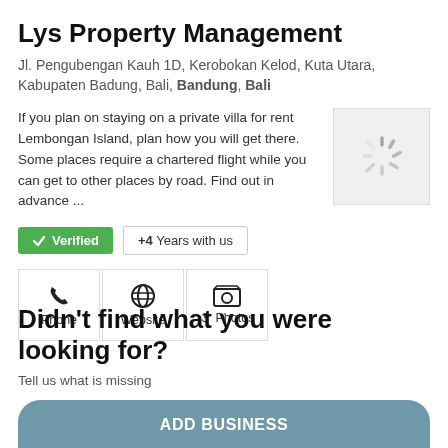Lys Property Management
Jl. Pengubengan Kauh 1D, Kerobokan Kelod, Kuta Utara, Kabupaten Badung, Bali, Bandung, Bali
If you plan on staying on a private villa for rent Lembongan Island, plan how you will get there. Some places require a chartered flight while you can get to other places by road. Find out in advance ...
[Figure (photo): Loading image placeholder with spinner icon]
✓ Verified   +4  Years with us
Phone   Website   3 Photos
Didn't find what you were looking for?
Tell us what is missing
ADD BUSINESS